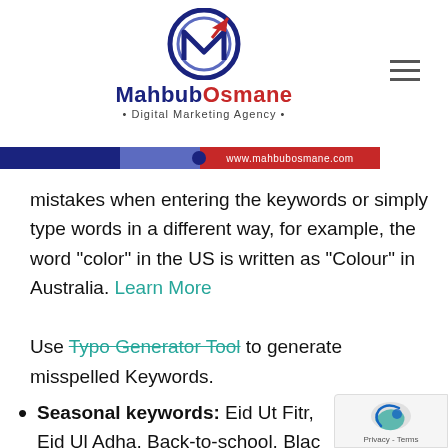[Figure (logo): MahbubOsmane Digital Marketing Agency logo with circular M icon and red upward arrow, dark navy and red color scheme, with URL bar showing www.mahbubosmane.com]
mistakes when entering the keywords or simply type words in a different way, for example, the word “color” in the US is written as “Colour” in Australia. Learn More Use Typo Generator Tool to generate misspelled Keywords.
Seasonal keywords: Eid Ut Fitr, Eid Ul Adha, Back-to-school, Blac Friday,